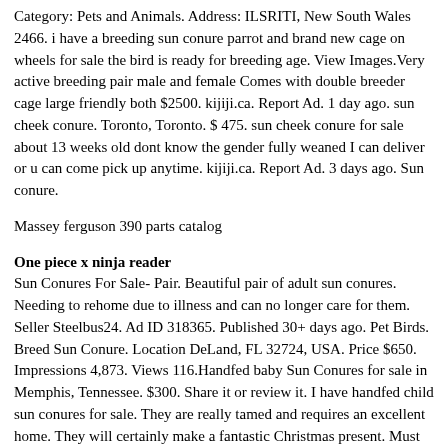Category: Pets and Animals. Address: ILSRITI, New South Wales 2466. i have a breeding sun conure parrot and brand new cage on wheels for sale the bird is ready for breeding age. View Images.Very active breeding pair male and female Comes with double breeder cage large friendly both $2500. kijiji.ca. Report Ad. 1 day ago. sun cheek conure. Toronto, Toronto. $ 475. sun cheek conure for sale about 13 weeks old dont know the gender fully weaned I can deliver or u can come pick up anytime. kijiji.ca. Report Ad. 3 days ago. Sun conure.
Massey ferguson 390 parts catalog
One piece x ninja reader
Sun Conures For Sale- Pair. Beautiful pair of adult sun conures. Needing to rehome due to illness and can no longer care for them. Seller Steelbus24. Ad ID 318365. Published 30+ days ago. Pet Birds. Breed Sun Conure. Location DeLand, FL 32724, USA. Price $650. Impressions 4,873. Views 116.Handfed baby Sun Conures for sale in Memphis, Tennessee. $300. Share it or review it. I have handfed child sun conures for sale. They are really tamed and requires an excellent home. They will certainly make a fantastic Christmas present. Must you have any concerns pls contact me @. call or text.
A 3 Months Old hand tamed Sun Conure Parrot For Sale in Karachi. Price = On Contact Location = Karachi Contact = 0322-